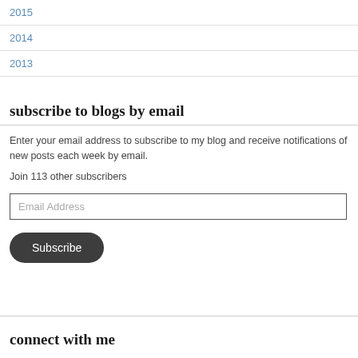2015
2014
2013
subscribe to blogs by email
Enter your email address to subscribe to my blog and receive notifications of new posts each week by email.
Join 113 other subscribers
Email Address
Subscribe
connect with me